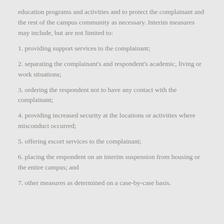education programs and activities and to protect the complainant and the rest of the campus community as necessary. Interim measures may include, but are not limited to:
1. providing support services to the complainant;
2. separating the complainant's and respondent's academic, living or work situations;
3. ordering the respondent not to have any contact with the complainant;
4. providing increased security at the locations or activities where misconduct occurred;
5. offering escort services to the complainant;
6. placing the respondent on an interim suspension from housing or the entire campus; and
7. other measures as determined on a case-by-case basis.